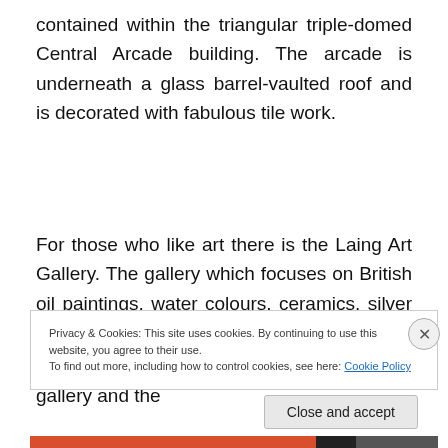contained within the triangular triple-domed Central Arcade building. The arcade is underneath a glass barrel-vaulted roof and is decorated with fabulous tile work.
For those who like art there is the Laing Art Gallery. The gallery which focuses on British oil paintings, water colours, ceramics, silver and glassware houses permanent exhibitions including an 18th-19th century gallery and the
Privacy & Cookies: This site uses cookies. By continuing to use this website, you agree to their use.
To find out more, including how to control cookies, see here: Cookie Policy
Close and accept